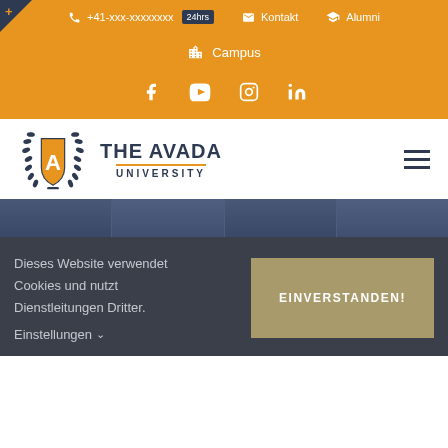+41-xxx-xxxxxxxx 24hrs  Kontakt  Alumni
Campus
[Figure (infographic): Social media icons: Facebook, YouTube, Instagram, LinkedIn]
[Figure (logo): The Avada University logo with shield emblem and laurel wreath]
[Figure (photo): Dark blue tinted campus building photo with vertical panel dividers]
Dieses Website verwendet Cookies und nutzt Dienstleitungen Dritter.
Einstellungen
EINVERSTANDEN!